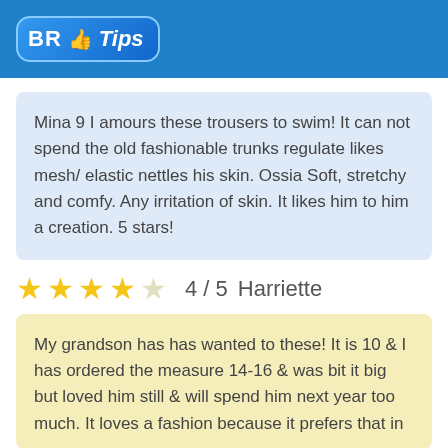BR Tips
Mina 9 I amours these trousers to swim! It can not spend the old fashionable trunks regulate likes mesh/ elastic nettles his skin. Ossia Soft, stretchy and comfy. Any irritation of skin. It likes him to him a creation. 5 stars!
★★★★☆  4 / 5   Harriette
My grandson has has wanted to these! It is 10 & I has ordered the measure 14-16 & was bit it big but loved him still & will spend him next year too much. It loves a fashion because it prefers that in